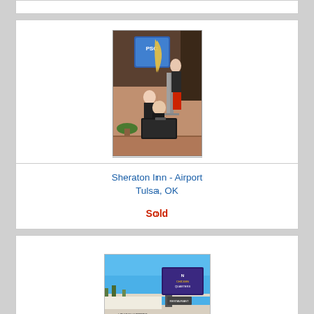[Figure (photo): Partial card visible at top of page, white background with gray border]
[Figure (photo): Vintage photograph of three women in dark uniforms with red accents posed at what appears to be an airport, with luggage cart and airline signage in background]
Sheraton Inn - Airport
Tulsa, OK
Sold
[Figure (photo): Exterior photo of a roadside motel/hotel with prominent signage, blue sky background, partial view at bottom of page]